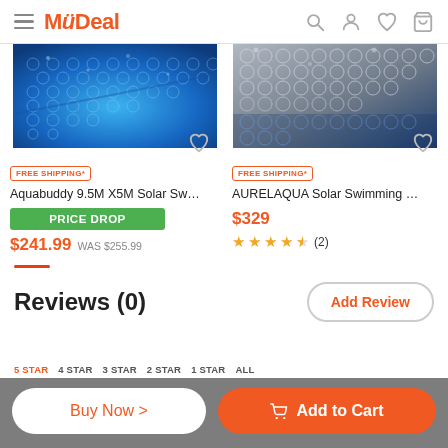MyDeal
[Figure (photo): Blue solar pool cover bubble wrap texture - Aquabuddy product]
[Figure (photo): Silver/grey solar pool cover bubble wrap texture with blue - AURELAQUA product]
FREE SHIPPING*
Aquabuddy 9.5M X5M Solar Swimming Pool Co...
PRICE DROP
$241.99 WAS $255.99
FREE SHIPPING*
AURELAQUA Solar Swimming Pool Cover 40 ...
$329
★★★★½ (2)
Reviews (0)
Add Review
Buy Now >
🛒 Add to Cart
5 STAR   4 STAR   3 STAR   2 STAR   1 STAR   ALL